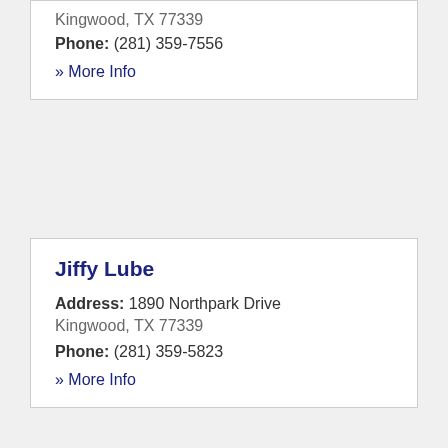Kingwood, TX 77339
Phone: (281) 359-7556
» More Info
Jiffy Lube
Address: 1890 Northpark Drive
Kingwood, TX 77339
Phone: (281) 359-5823
» More Info
Jiffy Lube
Address: 3227 W Lake Houston Parkway
Kingwood, TX 77339
Phone: (281) 361-7223